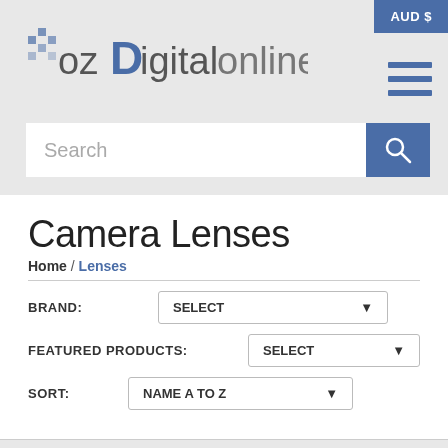AUD $
[Figure (logo): ozDigitalonline logo with blue D letter and pixel icon]
[Figure (other): Hamburger menu icon with three horizontal lines]
[Figure (other): Search bar with magnifying glass button]
Camera Lenses
Home / Lenses
BRAND: SELECT
FEATURED PRODUCTS: SELECT
SORT: NAME A TO Z